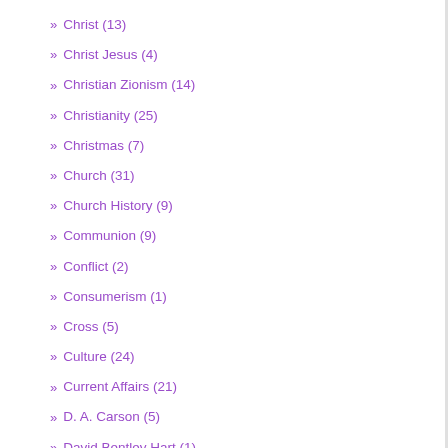» Christ (13)
» Christ Jesus (4)
» Christian Zionism (14)
» Christianity (25)
» Christmas (7)
» Church (31)
» Church History (9)
» Communion (9)
» Conflict (2)
» Consumerism (1)
» Cross (5)
» Culture (24)
» Current Affairs (21)
» D. A. Carson (5)
» David Bentley Hart (1)